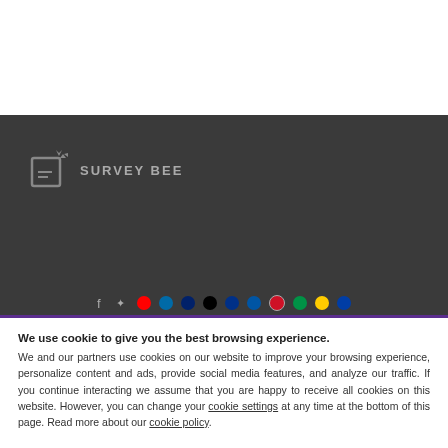[Figure (logo): Survey Bee logo with stylized bee icon on dark background]
We use cookie to give you the best browsing experience. We and our partners use cookies on our website to improve your browsing experience, personalize content and ads, provide social media features, and analyze our traffic. If you continue interacting we assume that you are happy to receive all cookies on this website. However, you can change your cookie settings at any time at the bottom of this page. Read more about our cookie policy.